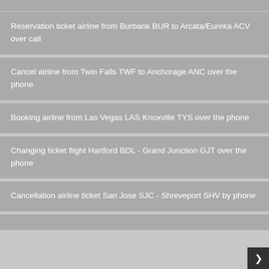Reservation ticket airline from Burbank BUR to Arcata/Eureka ACV over call
Cancel airline from Twin Falls TWF to Anchorage ANC over the phone
Booking airline from Las Vegas LAS Knoxville TYS over the phone
Changing ticket flight Hartford BDL - Grand Junction GJT over the phone
Cancellation airline ticket San Jose SJC - Shreveport SHV by phone